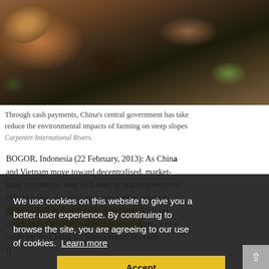[Figure (photo): Photograph of cattle/oxen being used for farming on muddy steep slope terrain, seen from above. Dark soil and animal with reddish-brown fur visible.]
Through cash payments, China's central government has taken steps to reduce the environmental impacts of farming on steep slopes. Carpenter/International Rivers.
BOGOR, Indonesia (22 February, 2013): As China and Vietnam move toward decentralised, market-based economies, they will need to improve the cost-effectiveness of ambitious programmes offering cash rewards to farmers who help protect forests, watersheds and other vulnerable ecosystems, a new study by the Center for International Forestry Research suggests.
We use cookies on this website to give you a better user experience. By continuing to browse the site, you are agreeing to our use of cookies. Learn more
Accept